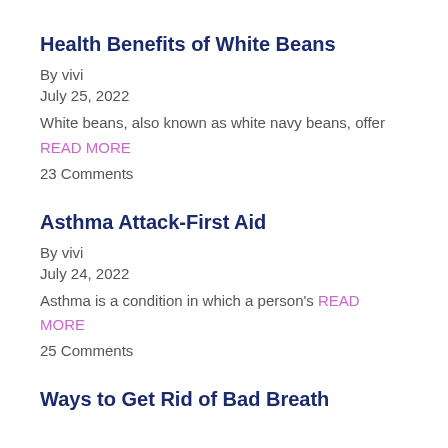Health Benefits of White Beans
By vivi
July 25, 2022
White beans, also known as white navy beans, offer
READ MORE
23 Comments
Asthma Attack-First Aid
By vivi
July 24, 2022
Asthma is a condition in which a person's READ MORE
25 Comments
Ways to Get Rid of Bad Breath